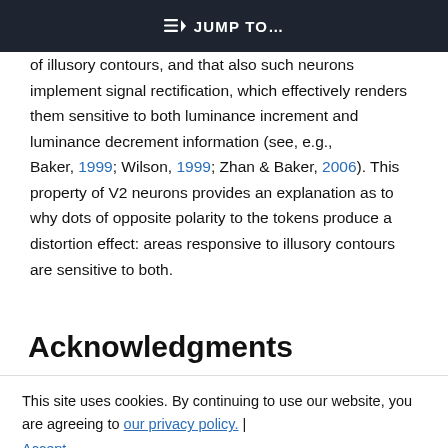JUMP TO...
of illusory contours, and that also such neurons implement signal rectification, which effectively renders them sensitive to both luminance increment and luminance decrement information (see, e.g., Baker, 1999; Wilson, 1999; Zhan & Baker, 2006). This property of V2 neurons provides an explanation as to why dots of opposite polarity to the tokens produce a distortion effect: areas responsive to illusory contours are sensitive to both.
Acknowledgments
This site uses cookies. By continuing to use our website, you are agreeing to our privacy policy. Accept
This work was supported by a Hong Kong Shue Yan University Research and Staff Development Committee Grant Award to W. O. Li; a UNSW Science